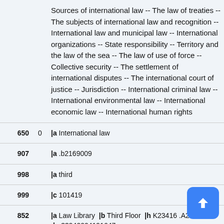| Field | Ind | Value |
| --- | --- | --- |
|  |  | Sources of international law -- The law of treaties -- The subjects of international law and recognition -- International law and municipal law -- International organizations -- State responsibility -- Territory and the law of the sea -- The law of use of force -- Collective security -- The settlement of international disputes -- The international court of justice -- Jurisdiction -- International criminal law -- International environmental law -- International economic law -- International human rights |
| 650 | 0 | |a International law |
| 907 |  | |a .b2169009 |
| 998 |  | |a third |
| 999 |  | |c 101419 |
| 852 |  | |a Law Library  |b Third Floor  |h K23416 .A235 2012  |p 33940004191647 |